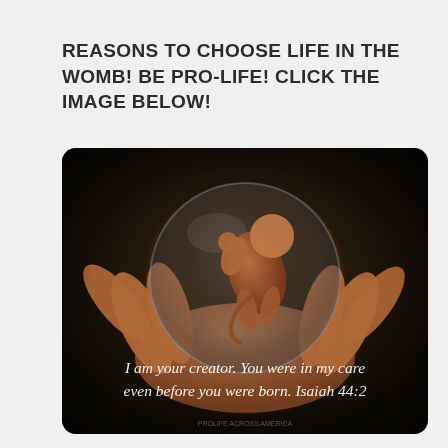REASONS TO CHOOSE LIFE IN THE WOMB! BE PRO-LIFE! CLICK THE IMAGE BELOW!
[Figure (illustration): Illustration of a fetus inside a translucent sphere being held in cupped hands, on a dark background. White italic text overlay reads: 'I am your creator. You were in my care even before you were born. Isaiah 44:2']